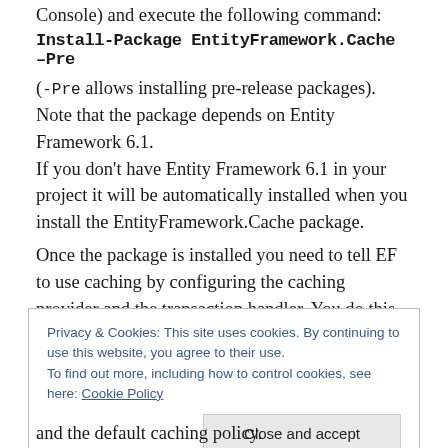Console) and execute the following command:
Install-Package EntityFramework.Cache –Pre
(-Pre allows installing pre-release packages). Note that the package depends on Entity Framework 6.1. If you don't have Entity Framework 6.1 in your project it will be automatically installed when you install the EntityFramework.Cache package.
Once the package is installed you need to tell EF to use caching by configuring the caching provider and the transaction handler. You do this by creating a configuration class derived from the DbConfiguration class. In the
Privacy & Cookies: This site uses cookies. By continuing to use this website, you agree to their use. To find out more, including how to control cookies, see here: Cookie Policy
and the default caching policy.